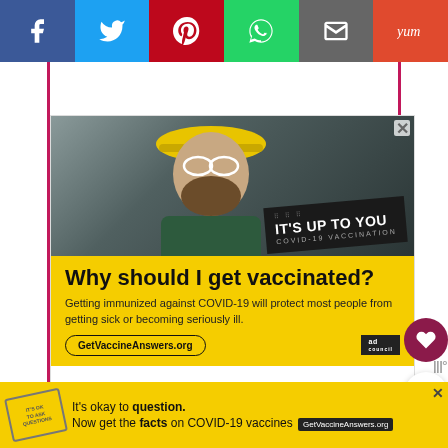[Figure (screenshot): Social media share bar with buttons: Facebook (blue), Twitter (light blue), Pinterest (red), WhatsApp (green), Email (gray), Yummly (orange-red)]
[Figure (photo): COVID-19 vaccination advertisement showing a bearded man wearing a yellow hard hat and safety glasses. Black badge reads 'IT'S UP TO YOU - COVID-19 VACCINATION' with dot pattern.]
Why should I get vaccinated?
Getting immunized against COVID-19 will protect most people from getting sick or becoming seriously ill.
GetVaccineAnswers.org
[Figure (screenshot): Bottom banner ad: 'It’s okay to question. Now get the facts on COVID-19 vaccines GetVaccineAnswers.org' on yellow background with stamp graphic and close button]